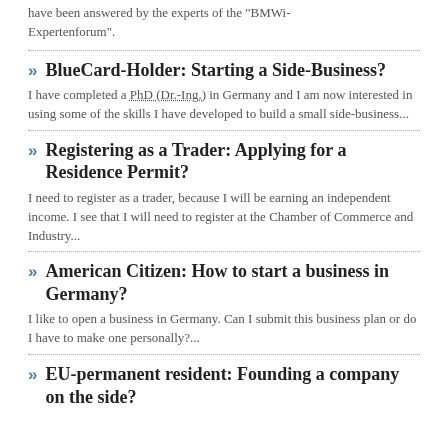have been answered by the experts of the "BMWi-Expertenforum".
BlueCard-Holder: Starting a Side-Business?
I have completed a PhD (Dr.-Ing.) in Germany and I am now interested in using some of the skills I have developed to build a small side-business...
Registering as a Trader: Applying for a Residence Permit?
I need to register as a trader, because I will be earning an independent income. I see that I will need to register at the Chamber of Commerce and Industry...
American Citizen: How to start a business in Germany?
I like to open a business in Germany. Can I submit this business plan or do I have to make one personally?...
EU-permanent resident: Founding a company on the side?